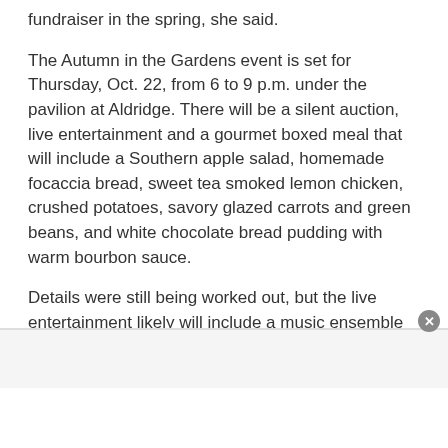fundraiser in the spring, she said.
The Autumn in the Gardens event is set for Thursday, Oct. 22, from 6 to 9 p.m. under the pavilion at Aldridge. There will be a silent auction, live entertainment and a gourmet boxed meal that will include a Southern apple salad, homemade focaccia bread, sweet tea smoked lemon chicken, crushed potatoes, savory glazed carrots and green beans, and white chocolate bread pudding with warm bourbon sauce.
Details were still being worked out, but the live entertainment likely will include a music ensemble from a Hoover school, Wasden said.
Masks will be still required, and the crowd will be limited to